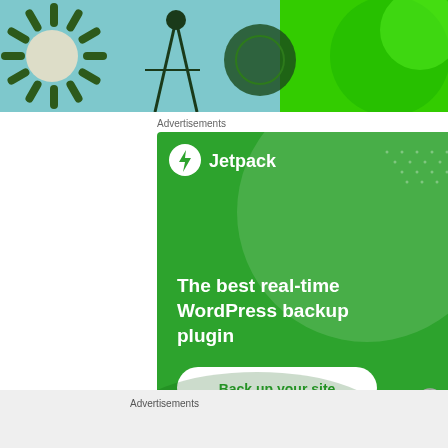[Figure (illustration): Partial decorative banner image showing a sun/flower shape on teal/blue background on left and bright green circular element on right]
Advertisements
[Figure (screenshot): Jetpack advertisement: green background with circle overlay, Jetpack logo and name at top, tagline 'The best real-time WordPress backup plugin', white rounded button 'Back up your site']
REPORT THIS AD
Advertisements
REPORT THIS AD